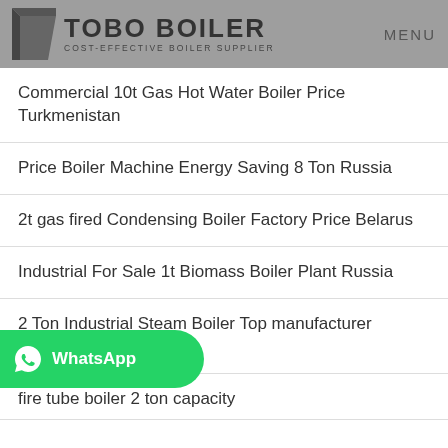TOBO BOILER COST-EFFECTIVE BOILER SUPPLIER  MENU
Commercial 10t Gas Hot Water Boiler Price Turkmenistan
Price Boiler Machine Energy Saving 8 Ton Russia
2t gas fired Condensing Boiler Factory Price Belarus
Industrial For Sale 1t Biomass Boiler Plant Russia
2 Ton Industrial Steam Boiler Top manufacturer Russia
fire tube boiler 2 ton capacity
1 Ton Biomass Boiler Distributor High Efficiency Belarus